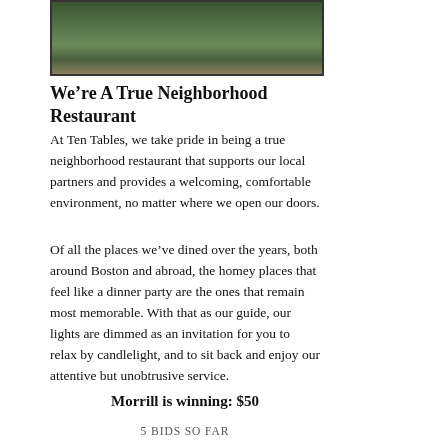[Figure (photo): Exterior photo of Ten Tables restaurant showing building facade with greenery and trees]
We’re A True Neighborhood Restaurant
At Ten Tables, we take pride in being a true neighborhood restaurant that supports our local partners and provides a welcoming, comfortable environment, no matter where we open our doors.
Of all the places we’ve dined over the years, both around Boston and abroad, the homey places that feel like a dinner party are the ones that remain most memorable. With that as our guide, our lights are dimmed as an invitation for you to relax by candlelight, and to sit back and enjoy our attentive but unobtrusive service.
Morrill is winning: $50
5 BIDS SO FAR